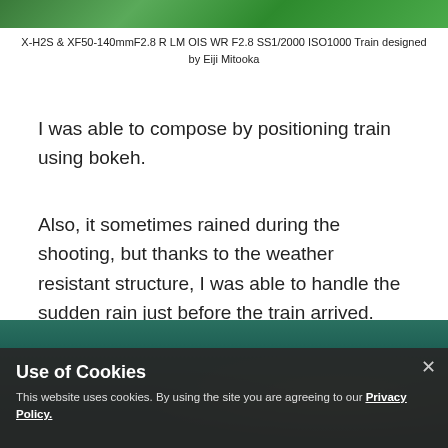[Figure (photo): Partial view of a green forest/nature scene, cropped at top]
X-H2S & XF50-140mmF2.8 R LM OIS WR F2.8 SS1/2000 ISO1000 Train designed by Eiji Mitooka
I was able to compose by positioning train using bokeh.
Also, it sometimes rained during the shooting, but thanks to the weather resistant structure, I was able to handle the sudden rain just before the train arrived.
[Figure (photo): Dark green forest scene with bokeh light circles, partially obscured by cookie overlay]
Use of Cookies
This website uses cookies. By using the site you are agreeing to our Privacy Policy.